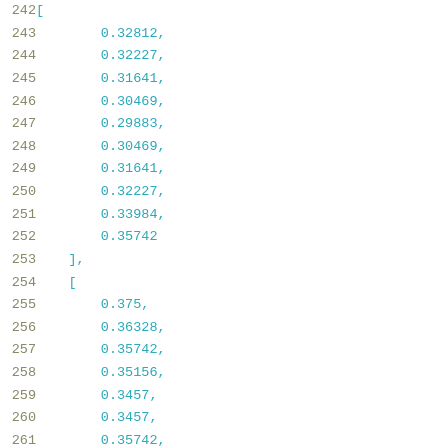Code listing showing array values, lines 242-262
242: [
243:     0.32812,
244:     0.32227,
245:     0.31641,
246:     0.30469,
247:     0.29883,
248:     0.30469,
249:     0.31641,
250:     0.32227,
251:     0.33984,
252:     0.35742
253: ],
254: [
255:     0.375,
256:     0.36328,
257:     0.35742,
258:     0.35156,
259:     0.3457,
260:     0.3457,
261:     0.35742,
262:     0.36914,